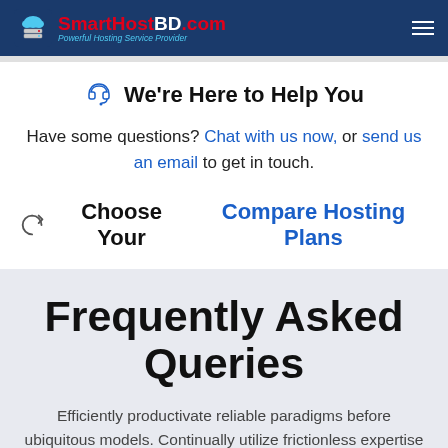SmartHostBD.com – Powerful Hosting Service Provider
We're Here to Help You
Have some questions? Chat with us now, or send us an email to get in touch.
Choose Your Compare Hosting Plans
Frequently Asked Queries
Efficiently productivate reliable paradigms before ubiquitous models. Continually utilize frictionless expertise whereas tactical relationships. Still have questions? Contact us